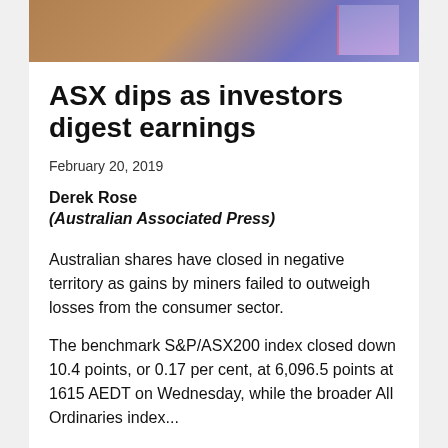[Figure (photo): Partial photo of what appears to be a stock market or financial display, with brown/tan and purple/blue tones]
ASX dips as investors digest earnings
February 20, 2019
Derek Rose
(Australian Associated Press)
Australian shares have closed in negative territory as gains by miners failed to outweigh losses from the consumer sector.
The benchmark S&P/ASX200 index closed down 10.4 points, or 0.17 per cent, at 6,096.5 points at 1615 AEDT on Wednesday, while the broader All Ordinaries index...